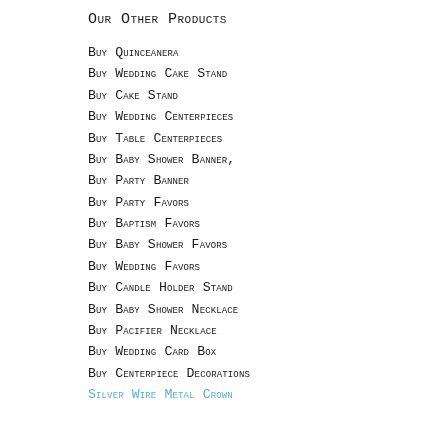Our other products
Buy quinceanera
Buy wedding cake stand
Buy cake stand
Buy wedding centerpieces
Buy table centerpieces
Buy baby shower banner,
Buy party banner
Buy party favors
Buy baptism favors
Buy baby shower favors
Buy wedding favors
Buy candle holder stand
Buy baby shower necklace
Buy pacifier necklace
Buy wedding card box
Buy centerpiece decorations
Silver Wire Metal Crown